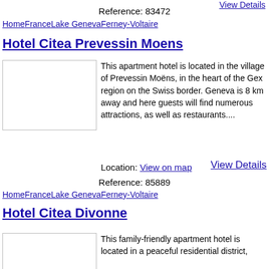View Details
Reference: 83472
HomeFranceLake GenevaFerney-Voltaire
Hotel Citea Prevessin Moens
[Figure (photo): Hotel photo thumbnail (broken image)]
This apartment hotel is located in the village of Prevessin Moëns, in the heart of the Gex region on the Swiss border. Geneva is 8 km away and here guests will find numerous attractions, as well as restaurants....
Location: View on map
View Details
Reference: 85889
HomeFranceLake GenevaFerney-Voltaire
Hotel Citea Divonne
[Figure (photo): Hotel photo thumbnail (broken image)]
This family-friendly apartment hotel is located in a peaceful residential district,